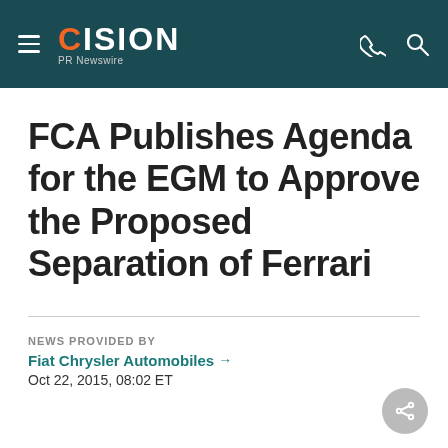CISION PR Newswire
FCA Publishes Agenda for the EGM to Approve the Proposed Separation of Ferrari
NEWS PROVIDED BY
Fiat Chrysler Automobiles →
Oct 22, 2015, 08:02 ET